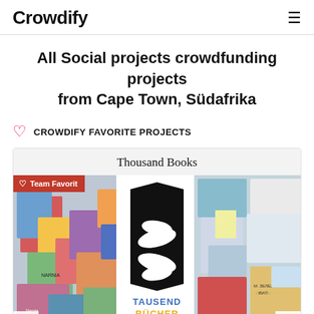Crowdify
All Social projects crowdfunding projects from Cape Town, Südafrika
♡  CROWDIFY FAVORITE PROJECTS
[Figure (screenshot): Thousand Books project card with a Team Favorit badge. The card shows a collage of colorful books on the left and right sides, and a black-and-white logo in the center showing two hands embracing a book shape, with text 'TAUSEND BÜCHER' below in blue and yellow. Navigation arrows on both sides.]